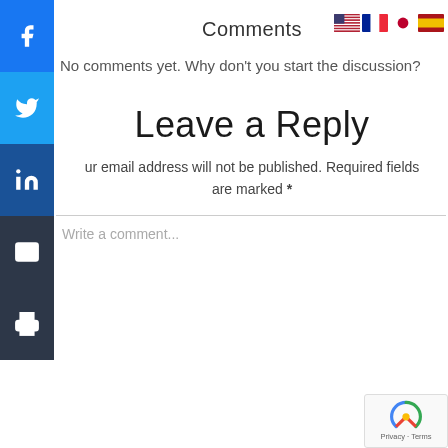Comments
No comments yet. Why don't you start the discussion?
Leave a Reply
Your email address will not be published. Required fields are marked *
Write a comment...
[Figure (infographic): Social sharing sidebar with Facebook, Twitter, LinkedIn, Email, and Print buttons on left side]
[Figure (logo): reCAPTCHA badge with privacy and terms links]